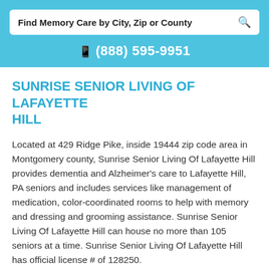Find Memory Care by City, Zip or County
(888) 595-9951
SUNRISE SENIOR LIVING OF LAFAYETTE HILL
Located at 429 Ridge Pike, inside 19444 zip code area in Montgomery county, Sunrise Senior Living Of Lafayette Hill provides dementia and Alzheimer's care to Lafayette Hill, PA seniors and includes services like management of medication, color-coordinated rooms to help with memory and dressing and grooming assistance. Sunrise Senior Living Of Lafayette Hill can house no more than 105 seniors at a time. Sunrise Senior Living Of Lafayette Hill has official license # of 128250.